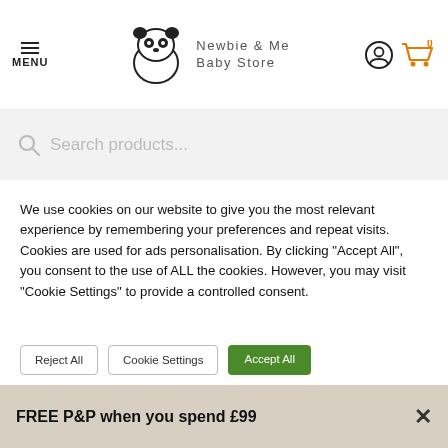MENU | Newbie & Me Baby Store | [account icon] [cart 0]
Search products...
Customer Help Area
Privacy Policy
Cookie Policy
LINKS
We use cookies on our website to give you the most relevant experience by remembering your preferences and repeat visits. Cookies are used for ads personalisation. By clicking "Accept All", you consent to the use of ALL the cookies. However, you may visit "Cookie Settings" to provide a controlled consent.
FREE P&P when you spend £99